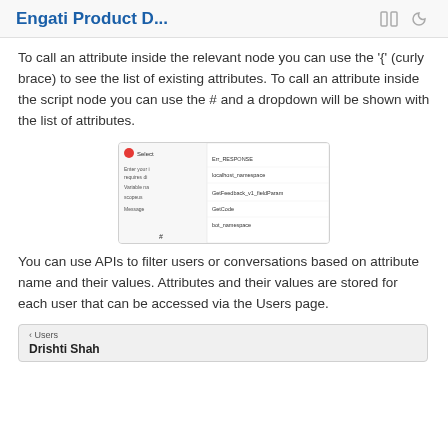Engati Product D...
To call an attribute inside the relevant node you can use the '{' (curly brace) to see the list of existing attributes. To call an attribute inside the script node you can use the # and a dropdown will be shown with the list of attributes.
[Figure (screenshot): Screenshot of a UI dropdown showing attribute options in a script node editor, with items like Err_RESPONSE, localhost_namespace, GetFeedback_v1_fieldParam, GetCode, and bot_namespace]
You can use APIs to filter users or conversations based on attribute name and their values. Attributes and their values are stored for each user that can be accessed via the Users page.
[Figure (screenshot): Screenshot of Users page showing a user named Drishti Shah]